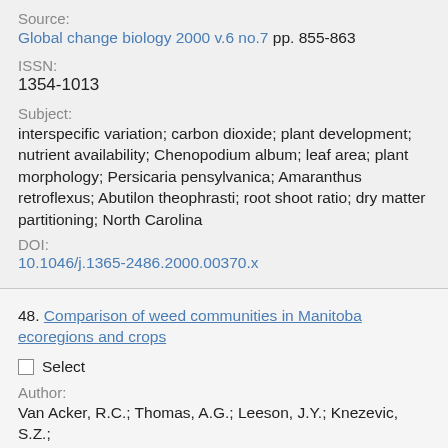Source:
Global change biology 2000 v.6 no.7 pp. 855-863
ISSN:
1354-1013
Subject:
interspecific variation; carbon dioxide; plant development; nutrient availability; Chenopodium album; leaf area; plant morphology; Persicaria pensylvanica; Amaranthus retroflexus; Abutilon theophrasti; root shoot ratio; dry matter partitioning; North Carolina
DOI:
10.1046/j.1365-2486.2000.00370.x
48. Comparison of weed communities in Manitoba ecoregions and crops
Select
Author:
Van Acker, R.C.; Thomas, A.G.; Leeson, J.Y.; Knezevic, S.Z.;